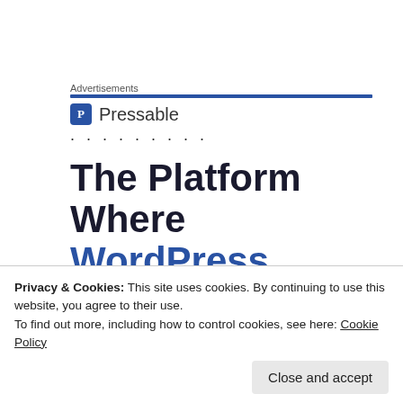Advertisements
[Figure (logo): Pressable logo with blue P icon and text 'Pressable' followed by dotted line]
The Platform Where WordPress
supergenericgirl on May 3, 2013 at 2:59 pm
Privacy & Cookies: This site uses cookies. By continuing to use this website, you agree to their use.
To find out more, including how to control cookies, see here: Cookie Policy
Close and accept